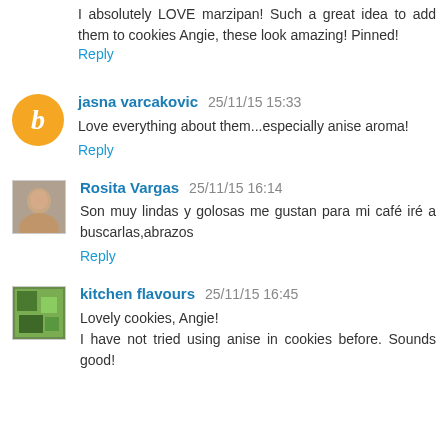I absolutely LOVE marzipan! Such a great idea to add them to cookies Angie, these look amazing! Pinned!
Reply
jasna varcakovic 25/11/15 15:33
Love everything about them...especially anise aroma!
Reply
Rosita Vargas 25/11/15 16:14
Son muy lindas y golosas me gustan para mi café iré a buscarlas,abrazos
Reply
kitchen flavours 25/11/15 16:45
Lovely cookies, Angie! I have not tried using anise in cookies before. Sounds good!